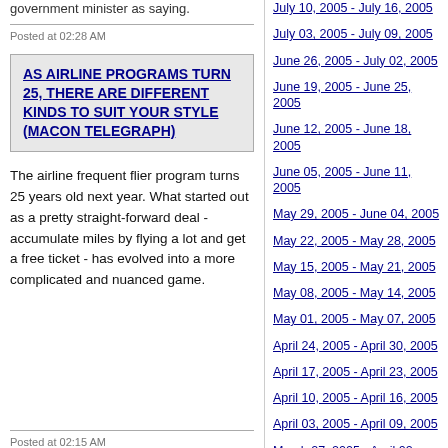government minister as saying.
Posted at 02:28 AM
AS AIRLINE PROGRAMS TURN 25, THERE ARE DIFFERENT KINDS TO SUIT YOUR STYLE (MACON TELEGRAPH)
The airline frequent flier program turns 25 years old next year. What started out as a pretty straight-forward deal - accumulate miles by flying a lot and get a free ticket - has evolved into a more complicated and nuanced game.
Posted at 02:15 AM
July 10, 2005 - July 16, 2005
July 03, 2005 - July 09, 2005
June 26, 2005 - July 02, 2005
June 19, 2005 - June 25, 2005
June 12, 2005 - June 18, 2005
June 05, 2005 - June 11, 2005
May 29, 2005 - June 04, 2005
May 22, 2005 - May 28, 2005
May 15, 2005 - May 21, 2005
May 08, 2005 - May 14, 2005
May 01, 2005 - May 07, 2005
April 24, 2005 - April 30, 2005
April 17, 2005 - April 23, 2005
April 10, 2005 - April 16, 2005
April 03, 2005 - April 09, 2005
March 27, 2005 - April 02, 2005
March 20, 2005 - March 26, 2005
March 13, 2005 - March 19, 2005